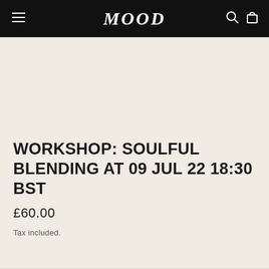MOOD
WORKSHOP: SOULFUL BLENDING AT 09 JUL 22 18:30 BST
£60.00
Tax included.